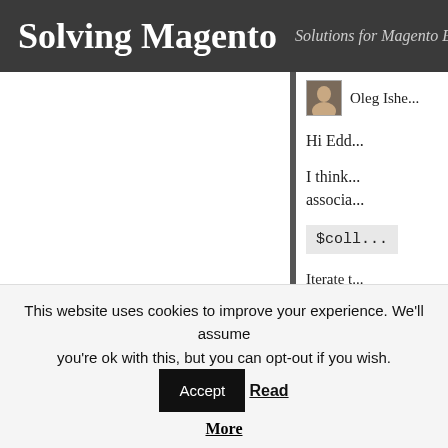Solving Magento — Solutions for Magento E-Comme...
Oleg Ishe...
Hi Edd...
I think ... associa...
$coll...
Iterate t... Once th... rows. C...
This website uses cookies to improve your experience. We'll assume you're ok with this, but you can opt-out if you wish. Accept Read More